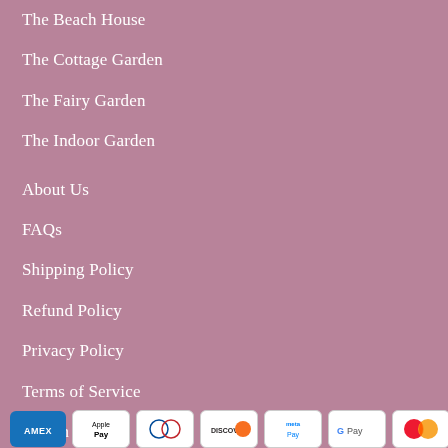The Beach House
The Cottage Garden
The Fairy Garden
The Indoor Garden
About Us
FAQs
Shipping Policy
Refund Policy
Privacy Policy
Terms of Service
Search
[Figure (other): Payment method icons: American Express, Apple Pay, Diners Club, Discover, Meta Pay, Google Pay, Mastercard]